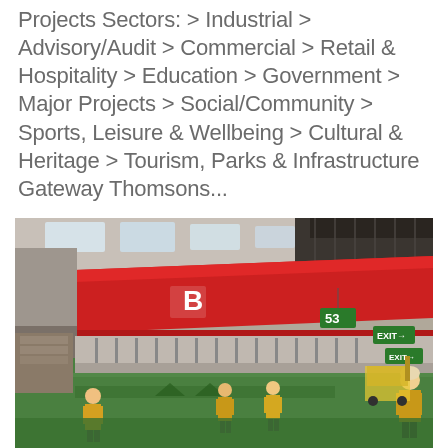Projects Sectors: > Industrial > Advisory/Audit > Commercial > Retail & Hospitality > Education > Government > Major Projects > Social/Community > Sports, Leisure & Wellbeing > Cultural & Heritage > Tourism, Parks & Infrastructure Gateway Thomsons...
[Figure (photo): Interior rendering of a large industrial warehouse/distribution facility with high ceilings, skylights, red structural beams/overhead walkway marked with letter 'B', green hanging signs including one marked '53', workers in high-visibility vests on a green floor, forklift in background, industrial shelving and goods visible.]